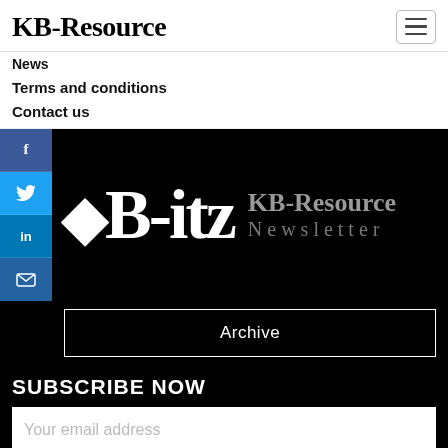KB-Resource
News
Terms and conditions
Contact us
[Figure (logo): KB-itz KB-Resource Newsletter logo on black background with social media sidebar (Facebook, Twitter, LinkedIn, Email)]
Archive
SUBSCRIBE NOW
Your email address
Subscribe